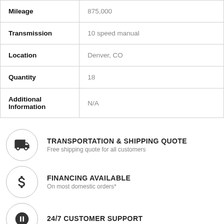| Field | Value |
| --- | --- |
| Mileage | 875,000 |
| Transmission | 10 speed manual |
| Location | Denver, CO |
| Quantity | 18 |
| Additional Information | N/A |
TRANSPORTATION & SHIPPING QUOTE
Free shipping quote for all customers
FINANCING AVAILABLE
On most domestic orders*
24/7 CUSTOMER SUPPORT